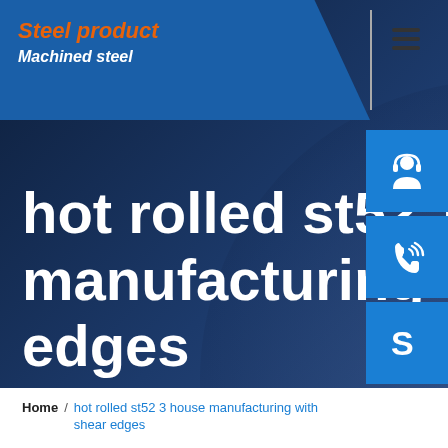Steel product / Machined steel
hot rolled st52 3 house manufacturing with shear edges
[Figure (other): Three sidebar icons: customer support (headset), phone/call icon, and Skype logo icon — all white on blue square backgrounds]
Home / hot rolled st52 3 house manufacturing with shear edges